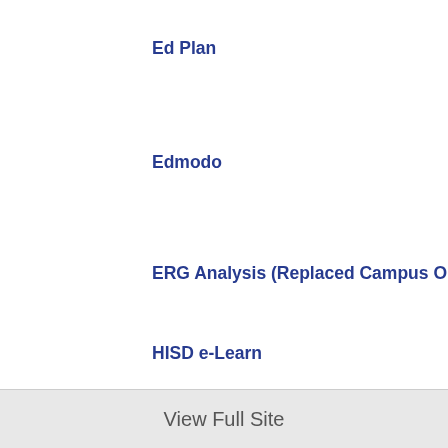Ed Plan
Edmodo
ERG Analysis (Replaced Campus Online)
HISD e-Learn
HISD Library Services
Istation
Measuring Up Live
View Full Site